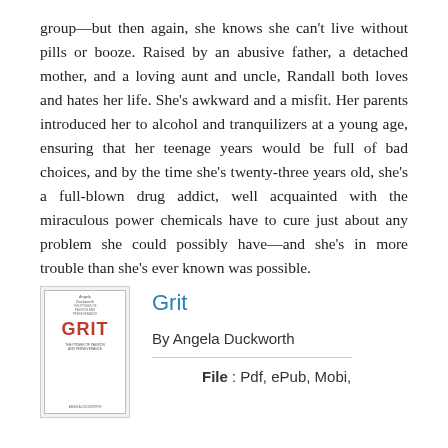group—but then again, she knows she can't live without pills or booze. Raised by an abusive father, a detached mother, and a loving aunt and uncle, Randall both loves and hates her life. She's awkward and a misfit. Her parents introduced her to alcohol and tranquilizers at a young age, ensuring that her teenage years would be full of bad choices, and by the time she's twenty-three years old, she's a full-blown drug addict, well acquainted with the miraculous power chemicals have to cure just about any problem she could possibly have—and she's in more trouble than she's ever known was possible.
[Figure (illustration): Book cover of 'Grit' by Angela Duckworth — red GRIT title text on a white/light background with small text above and below]
Grit
By Angela Duckworth
File : Pdf, ePub, Mobi,